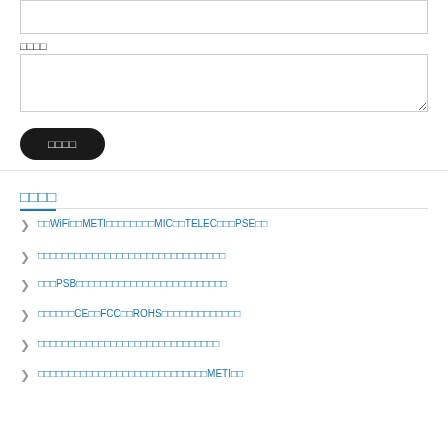[Figure (other): Input text field at the top of the page]
□□□□
[Figure (other): Textarea input box]
[Figure (other): Dark rounded submit button with Japanese text]
□□□□
□□WiFi□□METI□□□□□□□□MIC□□TELEC□□□PSE□□
□□□□□□□□□□□□□□□□□□□□□□□□□□□
□□□PSB□□□□□□□□□□□□□□□□□□□□□
□□□□□□CE□□FCC□□ROHS□□□□□□□□□□□□
□□□□□□□□□□□□□□□□□□□□□□□□□□□
□□□□□□□□□□□□□□□□□□□□□□□□METI□□